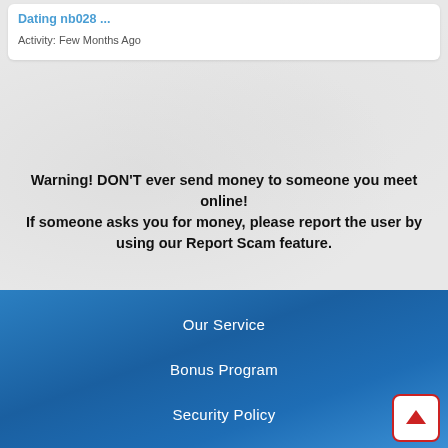Dating nb028 ...
Activity: Few Months Ago
Warning! DON'T ever send money to someone you meet online! If someone asks you for money, please report the user by using our Report Scam feature.
Our Service
Bonus Program
Security Policy